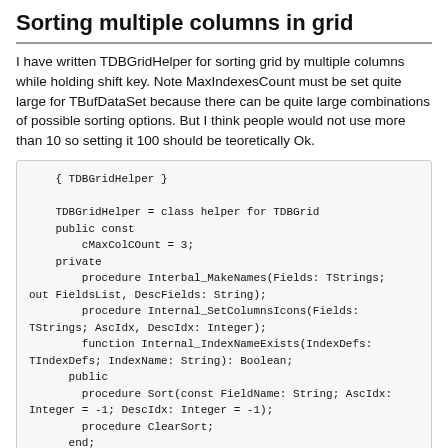Sorting multiple columns in grid
I have written TDBGridHelper for sorting grid by multiple columns while holding shift key. Note MaxIndexesCount must be set quite large for TBufDataSet because there can be quite large combinations of possible sorting options. But I think people would not use more than 10 so setting it 100 should be teoretically Ok.
{ TDBGridHelper }

TDBGridHelper = class helper for TDBGrid
public const
    cMaxColCOunt = 3;
private
    procedure Interbal_MakeNames(Fields: TStrings;
out FieldsList, DescFields: String);
    procedure Internal_SetColumnsIcons(Fields:
TStrings; AscIdx, DescIdx: Integer);
    function Internal_IndexNameExists(IndexDefs:
TIndexDefs; IndexName: String): Boolean;
  public
    procedure Sort(const FieldName: String; AscIdx:
Integer = -1; DescIdx: Integer = -1);
    procedure ClearSort;
  end;

{ TDBGridHelper }

procedure TDBGridHelper.Interbal_MakeNames(Fields: